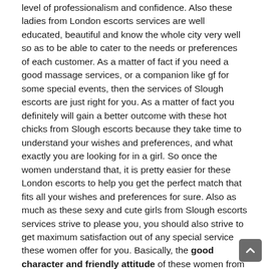level of professionalism and confidence. Also these ladies from London escorts services are well educated, beautiful and know the whole city very well so as to be able to cater to the needs or preferences of each customer. As a matter of fact if you need a good massage services, or a companion like gf for some special events, then the services of Slough escorts are just right for you. As a matter of fact you definitely will gain a better outcome with these hot chicks from Slough escorts because they take time to understand your wishes and preferences, and what exactly you are looking for in a girl. So once the women understand that, it is pretty easier for these London escorts to help you get the perfect match that fits all your wishes and preferences for sure. Also as much as these sexy and cute girls from Slough escorts services strive to please you, you should also strive to get maximum satisfaction out of any special service these women offer for you. Basically, the good character and friendly attitude of these women from London escorts services makes them more ideal and suitable for the customers. So this is how Slough escorts and their hot chicks are gauge by their clients when it comes to world class servicing. As a matter of fact all the sexy girls from Slough escorts services are sworn to confidentiality and will never disclose any detail about encounters with customers. Also it is very important that these